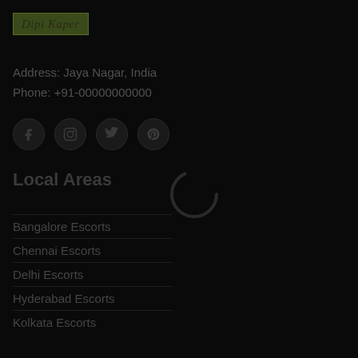[Figure (logo): Logo reading 'Dipi Kaper' in italic serif font inside a dark olive/green rectangle with border]
Address: Jaya Nagar, India
Phone: +91-00000000000
[Figure (infographic): Four social media icon circles: Facebook (f), Instagram, Twitter, Pinterest]
Local Areas
[Figure (other): Loading spinner graphic (circular arc/ring)]
Bangalore Escorts
Chennai Escorts
Delhi Escorts
Hyderabad Escorts
Kolkata Escorts